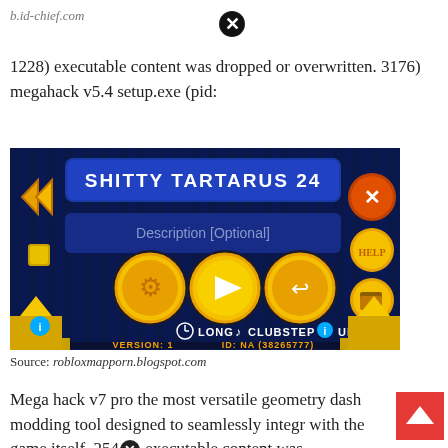b.id-chief.com
1228) executable content was dropped or overwritten. 3176) megahack v5.4 setup.exe (pid:
[Figure (screenshot): Screenshot of Geometry Dash level menu showing 'Shitty Tartarus 24' with Description [Optional] field, three circular buttons (settings/wrench, play, share), and info bar showing Long, Clubstep, Unverified. Version: 1, ID: NA (38265777)]
Source: robloxmapporn.blogspot.com
Mega hack v7 pro the most versatile geometry dash modding tool designed to seamlessly integr with the game itself. 2540 executable content was